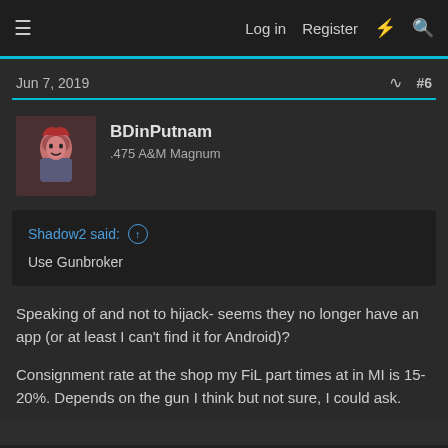Log in  Register
Jun 7, 2019  #6
BDinPutnam
.475 A&M Magnum
Shadow2 said:
Use Gunbroker
Speaking of and not to hijack- seems they no longer have an app (or at least I can't find it for Android)?
Consignment rate at the shop my FiL part times at in MI is 15-20%. Depends on the gun I think but not sure, I could ask.